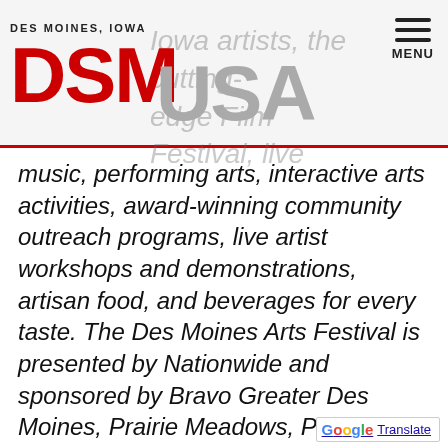DES MOINES, IOWA | DSM USA
Iowa artists, the cutting-edge Film Festival, live music, performing arts, interactive arts activities, award-winning community outreach programs, live artist workshops and demonstrations, artisan food, and beverages for every taste. The Des Moines Arts Festival is presented by Nationwide and sponsored by Bravo Greater Des Moines, Prairie Meadows, Principal, and MidAmerican Energy.
For more information please visit us online at desmoinesartsfestival.org or socialize with us on Facebook a